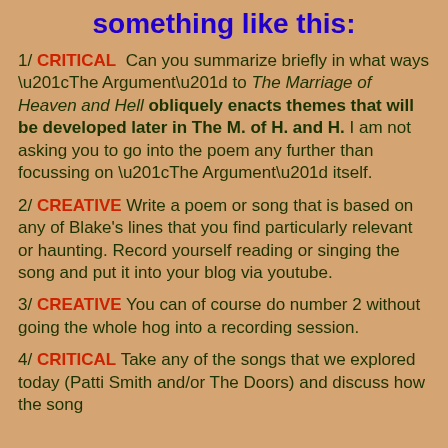something like this:
1/ CRITICAL  Can you summarize briefly in what ways “The Argument” to The Marriage of Heaven and Hell obliquely enacts themes that will be developed later in The M. of H. and H. I am not asking you to go into the poem any further than focussing on “The Argument” itself.
2/ CREATIVE Write a poem or song that is based on any of Blake’s lines that you find particularly relevant or haunting. Record yourself reading or singing the song and put it into your blog via youtube.
3/ CREATIVE You can of course do number 2 without going the whole hog into a recording session.
4/ CRITICAL Take any of the songs that we explored today (Patti Smith and/or The Doors) and discuss how the song